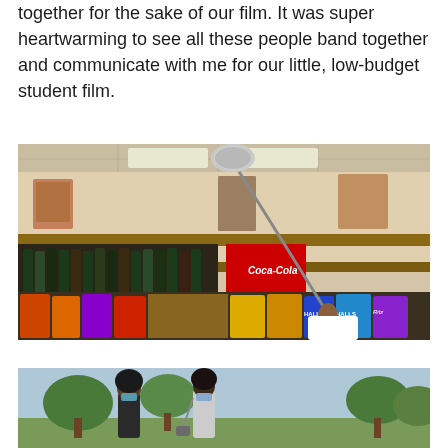together for the sake of our film. It was super heartwarming to see all these people band together and communicate with me for our little, low-budget student film.
[Figure (photo): A person holding a boom microphone pole up high inside a convenience store or deli shop, with shelves of wine bottles, snack bags, and a Coca-Cola cooler visible in the background. The operator is wearing a mask and a white long-sleeve shirt.]
[Figure (photo): Two people wearing masks standing outdoors in a park-like setting with trees and grass in the background, appearing to be on a film shoot.]